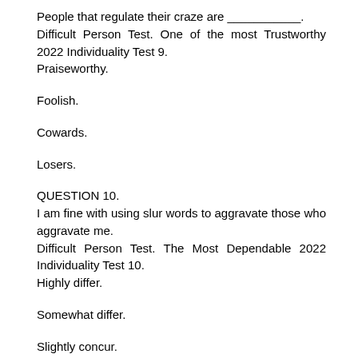People that regulate their craze are ___________.
Difficult Person Test. One of the most Trustworthy 2022 Individuality Test 9.
Praiseworthy.
Foolish.
Cowards.
Losers.
QUESTION 10.
I am fine with using slur words to aggravate those who aggravate me.
Difficult Person Test. The Most Dependable 2022 Individuality Test 10.
Highly differ.
Somewhat differ.
Slightly concur.